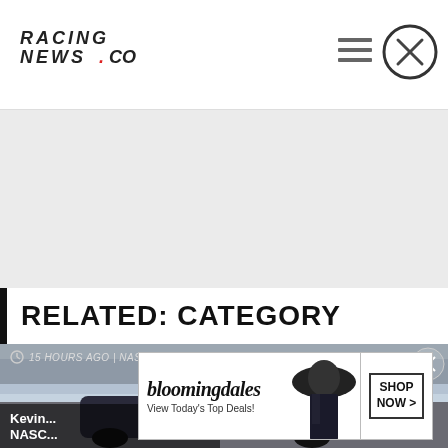RACING NEWS.CO
[Figure (other): Gray advertisement/spacer area]
RELATED: CATEGORY
[Figure (photo): NASCAR Cup Series racing photo with cars on track and crowd in stands, overlaid with article card showing '15 HOURS AGO | NASCAR CUP SERIES' and article beginning 'Kevin... NASC...']
[Figure (other): Bloomingdale's advertisement banner: 'bloomingdales – View Today's Top Deals! SHOP NOW >']